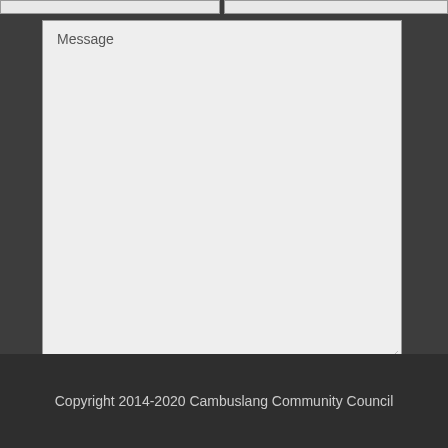[Figure (screenshot): Web contact form showing a large Message textarea with placeholder text 'Message', a CAPTCHA math question '2 + 1 =' with an answer input box, and a Submit button with blue border and blue text.]
Copyright 2014-2020 Cambuslang Community Council